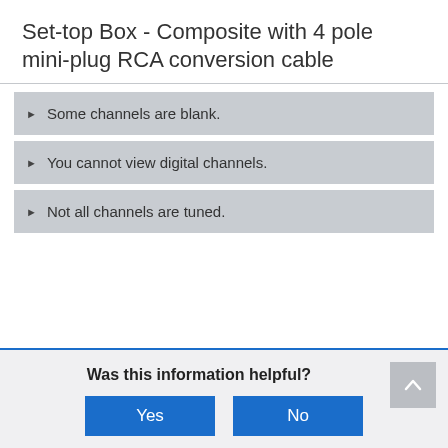Set-top Box - Composite with 4 pole mini-plug RCA conversion cable
Some channels are blank.
You cannot view digital channels.
Not all channels are tuned.
Was this information helpful?